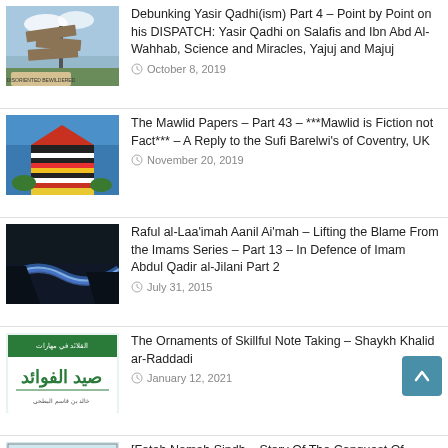Debunking Yasir Qadhi(ism) Part 4 – Point by Point on his DISPATCH: Yasir Qadhi on Salafis and Ibn Abd Al-Wahhab, Science and Miracles, Yajuj and Majuj
The Mawlid Papers – Part 43 – ***Mawlid is Fiction not Fact*** – A Reply to the Sufi Barelwi's of Coventry, UK
Raful al-Laa'imah Aanil Ai'mah – Lifting the Blame From the Imams Series – Part 13 – In Defence of Imam Abdul Qadir al-Jilani Part 2
The Ornaments of Skillful Note Taking – Shaykh Khalid ar-Raddadi
[Fateh Namah Sindh – Story Of The Conquest Of Sindh] – [The Introduction Of The Knowledge Of Hadith In The Indian Subcontinent]
[Sharh Muwatta Imam Malik – Shaikh Zubair Ali Zai –